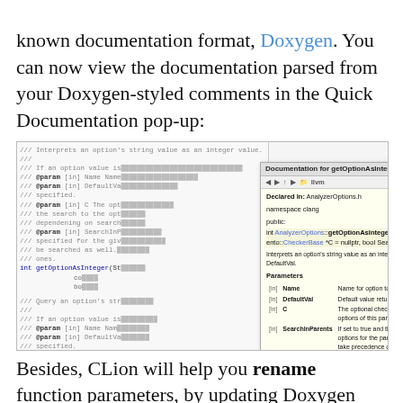known documentation format, Doxygen. You can now view the documentation parsed from your Doxygen-styled comments in the Quick Documentation pop-up:
[Figure (screenshot): Screenshot of CLion IDE showing Doxygen documentation popup for getOptionAsInteger function, with code on the left and a Quick Documentation panel on the right displaying declared-in info, namespace, signature, description, and parameters table.]
Besides, CLion will help you rename function parameters, by updating Doxygen